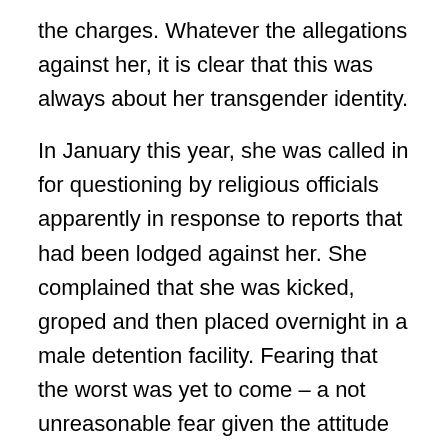the charges. Whatever the allegations against her, it is clear that this was always about her transgender identity.
In January this year, she was called in for questioning by religious officials apparently in response to reports that had been lodged against her. She complained that she was kicked, groped and then placed overnight in a male detention facility. Fearing that the worst was yet to come – a not unreasonable fear given the attitude of religious officails towards transgenders – she fled to Thailand.
State religious officials reportedly deployed 122 personnel and enforcement officers to find and arrest Sajat. After she fled to Thailand, Malaysian immigration authorities voided her passport in an effort to force her to return home. Now, thanks to the Australian government, Sajat will be free from harassment and intimidation. Thank you, Australia,